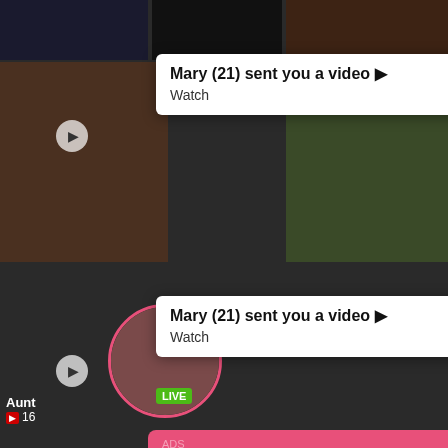[Figure (screenshot): Background of dark video thumbnails from a video platform]
Mary (21) sent you a video ▶ Watch (notification popup 1)
Mary (21) sent you a video ▶ Watch (notification popup 2)
ADS Jeniffer 2000 (00:12)□ (pink live call card)
LIVE (green badge)
Aunt 16 (video label)
Sex 48 (video label)
ADS (1)Missed Call from Eliza pleeease call me back.. I miss you! 0:00 3:23 (audio player)